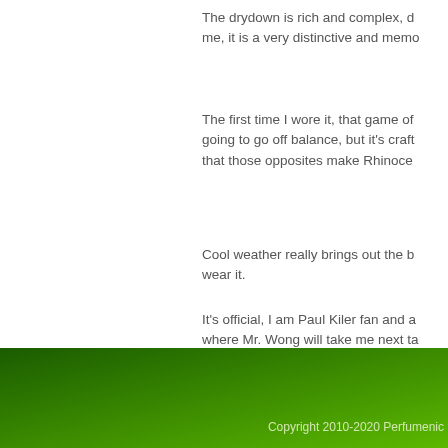The drydown is rich and complex, d... me, it is a very distinctive and memo...
The first time I wore it, that game o... going to go off balance, but it's craft... that those opposites make Rhinoce...
Cool weather really brings out the b... wear it.
It's official, I am Paul Kiler fan and a... where Mr. Wong will take me next ta...
Rhinoceros is listed in our Decant...
Copyright 2010-2020 Perfumenic...